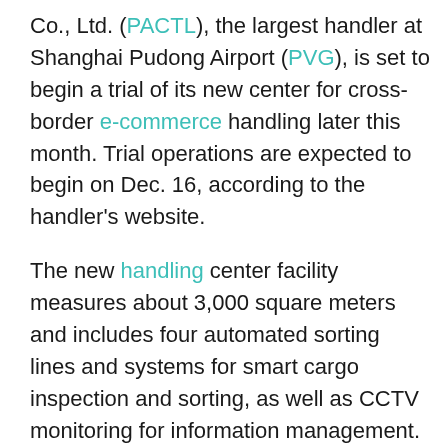Co., Ltd. (PACTL), the largest handler at Shanghai Pudong Airport (PVG), is set to begin a trial of its new center for cross-border e-commerce handling later this month. Trial operations are expected to begin on Dec. 16, according to the handler's website.
The new handling center facility measures about 3,000 square meters and includes four automated sorting lines and systems for smart cargo inspection and sorting, as well as CCTV monitoring for information management. According to PACTL, the handling center's space will primarily be devoted to truck unloading, cargo buffering, sorting, unpacking, customs inspection, customs withholding and cargo handling. Initially, services at the center will include cargo operation and customs withholding storage.
While some e-commerce logistics services are focusing